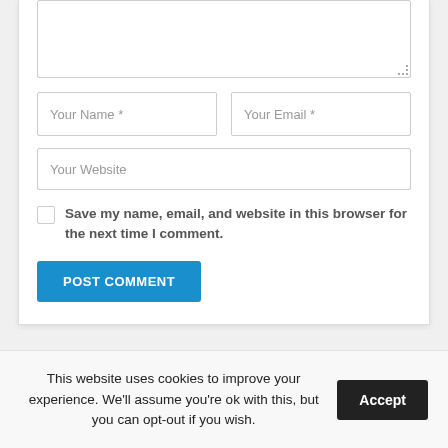[Figure (screenshot): Comment form with textarea (partially visible at top), Your Name and Your Email input fields, Your Website input field, a checkbox with label 'Save my name, email, and website in this browser for the next time I comment.', and a blue POST COMMENT button.]
Your Name *
Your Email *
Your Website
Save my name, email, and website in this browser for the next time I comment.
POST COMMENT
This website uses cookies to improve your experience. We'll assume you're ok with this, but you can opt-out if you wish.
Accept